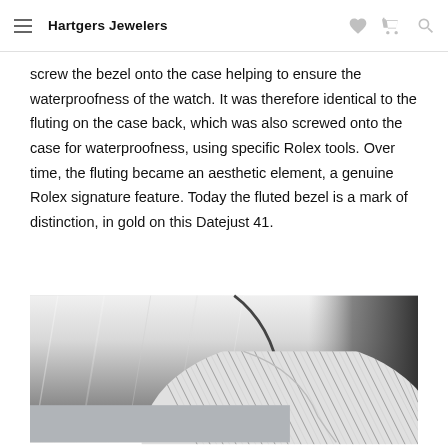Hartgers Jewelers
screw the bezel onto the case helping to ensure the waterproofness of the watch. It was therefore identical to the fluting on the case back, which was also screwed onto the case for waterproofness, using specific Rolex tools. Over time, the fluting became an aesthetic element, a genuine Rolex signature feature. Today the fluted bezel is a mark of distinction, in gold on this Datejust 41.
[Figure (photo): Close-up macro photograph of a fluted watch bezel, showing the fine parallel grooves/fluting detail on a metallic silver surface, against a light grey background.]